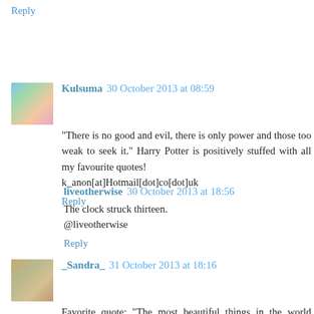Reply
Kulsuma 30 October 2013 at 08:59
“There is no good and evil, there is only power and those too weak to seek it.” Harry Potter is positively stuffed with all my favourite quotes!
k_anon[at]Hotmail[dot]co[dot]uk
Reply
liveotherwise 30 October 2013 at 18:56
The clock struck thirteen.
@liveotherwise
Reply
_Sandra_ 31 October 2013 at 18:16
Favorite quote: “The most beautiful things in the world cannot be seen or touched, they are felt with the heart.”